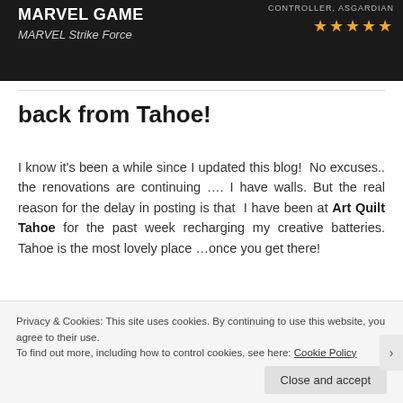[Figure (screenshot): Dark banner showing Marvel Strike Force game with title 'Marvel game' and subtitle 'MARVEL Strike Force', with 'CONTROLLER, ASGARDIAN' text and five gold stars on the right]
back from Tahoe!
I know it's been a while since I updated this blog!  No excuses.. the renovations are continuing …. I have walls. But the real reason for the delay in posting is that  I have been at Art Quilt Tahoe for the past week recharging my creative batteries. Tahoe is the most lovely place …once you get there!
[Figure (photo): Partial photo of Tahoe landscape with teal/blue tones]
Privacy & Cookies: This site uses cookies. By continuing to use this website, you agree to their use.
To find out more, including how to control cookies, see here: Cookie Policy
Close and accept